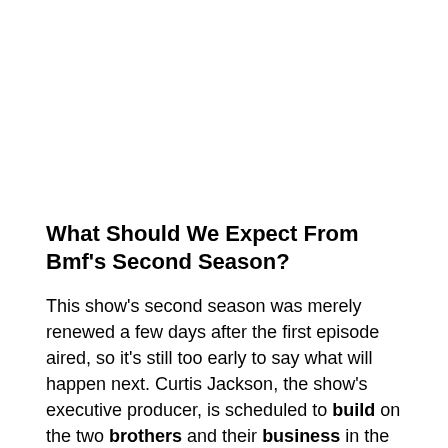What Should We Expect From Bmf's Second Season?
This show's second season was merely renewed a few days after the first episode aired, so it's still too early to say what will happen next. Curtis Jackson, the show's executive producer, is scheduled to build on the two brothers and their business in the second episode.